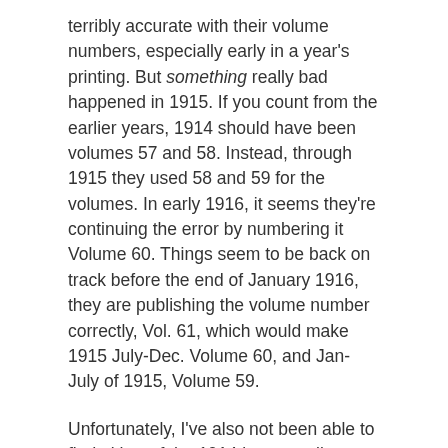terribly accurate with their volume numbers, especially early in a year's printing. But something really bad happened in 1915. If you count from the earlier years, 1914 should have been volumes 57 and 58. Instead, through 1915 they used 58 and 59 for the volumes. In early 1916, it seems they're continuing the error by numbering it Volume 60. Things seem to be back on track before the end of January 1916, they are publishing the volume number correctly, Vol. 61, which would make 1915 July-Dec. Volume 60, and Jan-July of 1915, Volume 59.
Unfortunately, I've also not been able to find either of the 1914 issues online, no matter what volume they're marked as.
American Bookseller